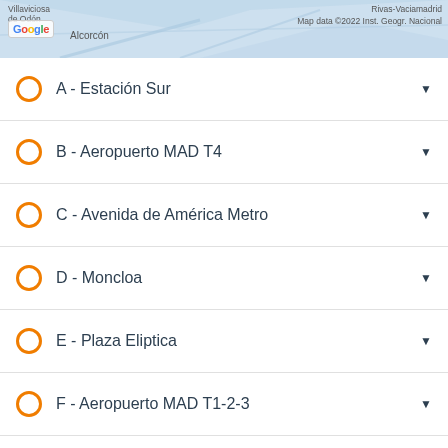[Figure (map): Google Maps partial view showing area around Madrid including Villaviciosa de Odón, Alcorcón, Rivas-Vaciamadrid labels. Map data ©2022 Inst. Geogr. Nacional.]
A - Estación Sur
B - Aeropuerto MAD T4
C - Avenida de América Metro
D - Moncloa
E - Plaza Eliptica
F - Aeropuerto MAD T1-2-3
G - Príncipe Pío